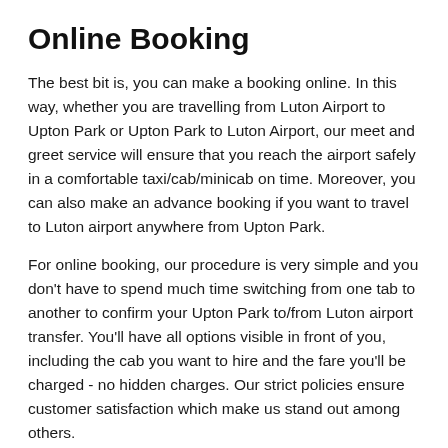Online Booking
The best bit is, you can make a booking online. In this way, whether you are travelling from Luton Airport to Upton Park or Upton Park to Luton Airport, our meet and greet service will ensure that you reach the airport safely in a comfortable taxi/cab/minicab on time. Moreover, you can also make an advance booking if you want to travel to Luton airport anywhere from Upton Park.
For online booking, our procedure is very simple and you don’t have to spend much time switching from one tab to another to confirm your Upton Park to/from Luton airport transfer. You’ll have all options visible in front of you, including the cab you want to hire and the fare you’ll be charged - no hidden charges. Our strict policies ensure customer satisfaction which make us stand out among others.
Are Cab/Taxi for...